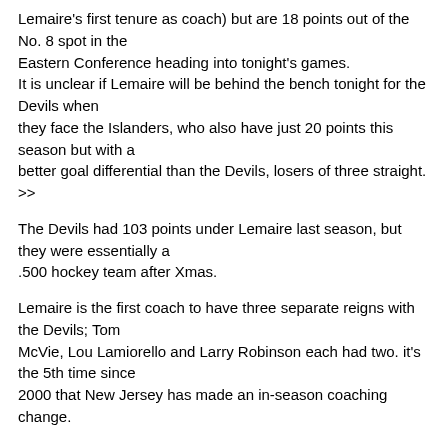Lemaire's first tenure as coach) but are 18 points out of the No. 8 spot in the Eastern Conference heading into tonight's games. It is unclear if Lemaire will be behind the bench tonight for the Devils when they face the Islanders, who also have just 20 points this season but with a better goal differential than the Devils, losers of three straight.
>>
The Devils had 103 points under Lemaire last season, but they were essentially a .500 hockey team after Xmas.
Lemaire is the first coach to have three separate reigns with the Devils; Tom McVie, Lou Lamiorello and Larry Robinson each had two. it's the 5th time since 2000 that New Jersey has made an in-season coaching change.